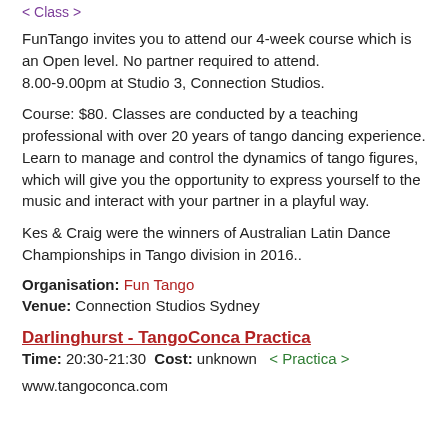< Class >
FunTango invites you to attend our 4-week course which is an Open level. No partner required to attend.
8.00-9.00pm at Studio 3, Connection Studios.
Course: $80. Classes are conducted by a teaching professional with over 20 years of tango dancing experience.
Learn to manage and control the dynamics of tango figures, which will give you the opportunity to express yourself to the music and interact with your partner in a playful way.
Kes & Craig were the winners of Australian Latin Dance Championships in Tango division in 2016..
Organisation: Fun Tango
Venue: Connection Studios Sydney
Darlinghurst - TangoConca Practica
Time: 20:30-21:30  Cost: unknown  < Practica >
www.tangoconca.com